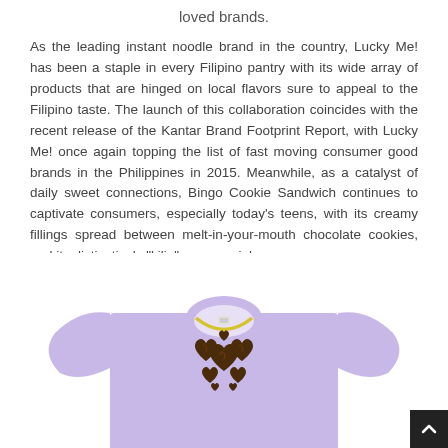loved brands.
As the leading instant noodle brand in the country, Lucky Me! has been a staple in every Filipino pantry with its wide array of products that are hinged on local flavors sure to appeal to the Filipino taste. The launch of this collaboration coincides with the recent release of the Kantar Brand Footprint Report, with Lucky Me! once again topping the list of fast moving consumer good brands in the Philippines in 2015. Meanwhile, as a catalyst of daily sweet connections, Bingo Cookie Sandwich continues to captivate consumers, especially today's teens, with its creamy fillings spread between melt-in-your-mouth chocolate cookies, and its distinctively “kilig” commercials.
[Figure (photo): Photo of a lavender/light purple t-shirt with a yellow collar lining, featuring a design of multiple dark brown chocolate cookie hearts on the chest area.]